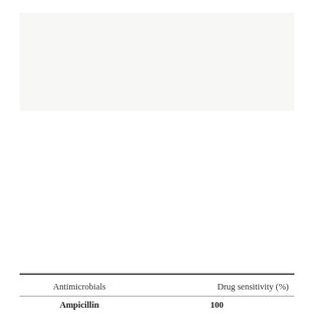[Figure (photo): Light gray rectangular image area at top of page, likely a figure or photograph placeholder]
| Antimicrobials | Drug sensitivity (%) |
| --- | --- |
| Ampicillin | 100 |